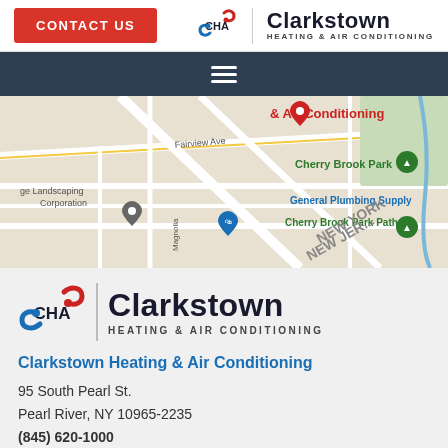[Figure (logo): Contact Us button and Clarkstown Heating & Air Conditioning logo in top header bar]
[Figure (screenshot): Google Maps screenshot showing area near 95 South Pearl St, Pearl River NY with labels: Fairview Ave, ge Landscaping Corporation, General Plumbing Supply, Cherry Brook Park, Cherry Brook Park Path, NEW YORK NEW JER, map pins]
[Figure (logo): Large Clarkstown Heating & Air Conditioning logo with CHA icon and vertical divider]
Clarkstown Heating & Air Conditioning
95 South Pearl St.
Pearl River, NY 10965-2235
(845) 620-1000